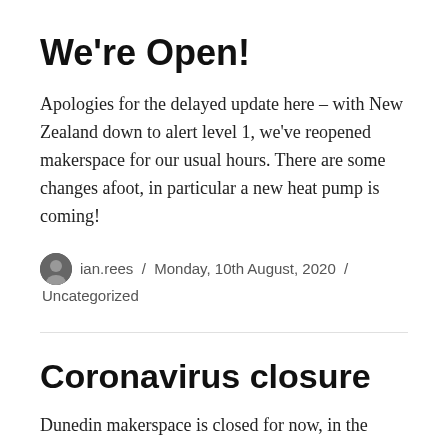We're Open!
Apologies for the delayed update here – with New Zealand down to alert level 1, we've reopened makerspace for our usual hours. There are some changes afoot, in particular a new heat pump is coming!
ian.rees / Monday, 10th August, 2020 / Uncategorized
Coronavirus closure
Dunedin makerspace is closed for now, in the